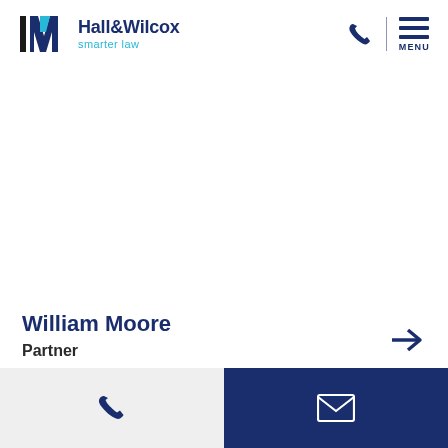[Figure (logo): Hall & Wilcox smarter law logo with geometric N/W shapes in dark navy and cyan, with company name and tagline]
[Figure (other): Phone icon and hamburger menu icon in dark navy on the right side of header]
William Moore
Partner
[Figure (other): Phone icon in a light grey button and email/envelope icon in a dark navy blue button, side by side contact bar]